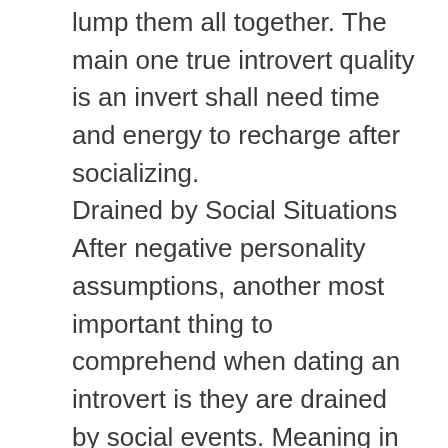lump them all together. The main one true introvert quality is an invert shall need time and energy to recharge after socializing.
Drained by Social Situations
After negative personality assumptions, another most important thing to comprehend when dating an introvert is they are drained by social events. Meaning in the event that you attend a ongoing party, concert or any social event, immediately afterwards your introverted partner will require some down time which down time should be taken alone. Don't get offend if on the drive home from said event your lover is fairly or short as soon as you try to make conversation. This can not